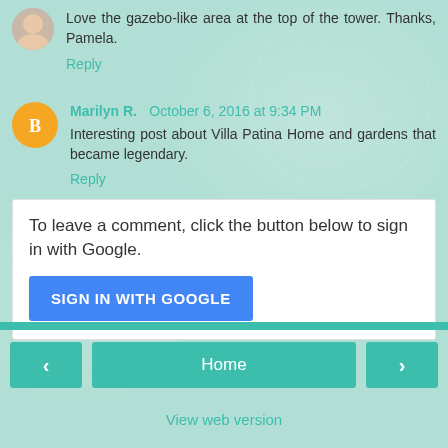Love the gazebo-like area at the top of the tower. Thanks, Pamela.
Reply
Marilyn R.  October 6, 2016 at 9:34 PM
Interesting post about Villa Patina Home and gardens that became legendary.
Reply
To leave a comment, click the button below to sign in with Google.
SIGN IN WITH GOOGLE
Home
View web version